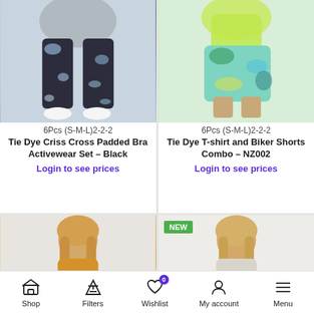[Figure (photo): Woman wearing black and white tie dye leggings with white sneakers - product image for activewear set]
6Pcs (S-M-L)2-2-2
Tie Dye Criss Cross Padded Bra Activewear Set – Black
Login to see prices
[Figure (photo): Woman wearing yellow-green and blue tie dye biker shorts with matching outfit - product image]
6Pcs (S-M-L)2-2-2
Tie Dye T-shirt and Biker Shorts Combo – NZ002
Login to see prices
[Figure (photo): Woman with blonde hair wearing a mustard/golden yellow top - partial product image]
[Figure (photo): Woman with blonde hair wearing light colored outfit - partial product image with NEW badge]
Shop  Filters  Wishlist  My account  Menu